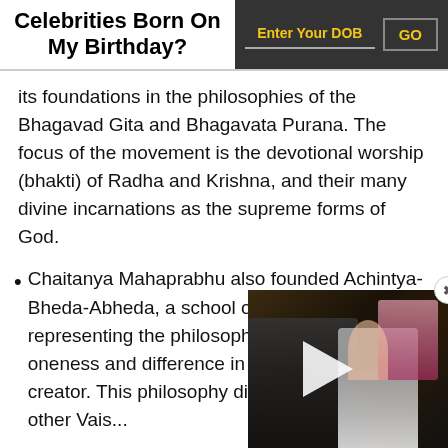Celebrities Born On My Birthday?
its foundations in the philosophies of the Bhagavad Gita and Bhagavata Purana. The focus of the movement is the devotional worship (bhakti) of Radha and Krishna, and their many divine incarnations as the supreme forms of God.
Chaitanya Mahaprabhu also founded Achintya-Bheda-Abheda, a school of Vedanta representing the philosophy of inconceivable oneness and difference in relation to the creator. This philosophy dif… tradition from the other Vais…
[Figure (photo): Video overlay showing a couple at a formal event, man in tuxedo and woman in white dress, with play button overlay and close button]